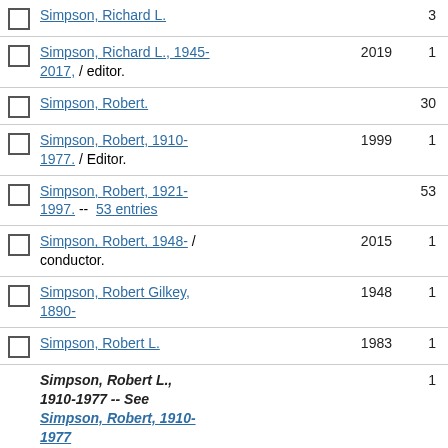Simpson, Richard L.  3
Simpson, Richard L., 1945-2017, / editor.  2019  1
Simpson, Robert.  30
Simpson, Robert, 1910-1977. / Editor.  1999  1
Simpson, Robert, 1921-1997. -- 53 entries  53
Simpson, Robert, 1948- / conductor.  2015  1
Simpson, Robert Gilkey, 1890-  1948  1
Simpson, Robert L.  1983  1
Simpson, Robert L., 1910-1977 -- See Simpson, Robert, 1910-1977  1
Simpson, Robert L. (Robert Lee), 1942-  3
Simpson, Robert Lee, 1942- -- See Simpson, Robert L. (Robert Lee), 1942-  1
Simpson, Robert R.  2000  1